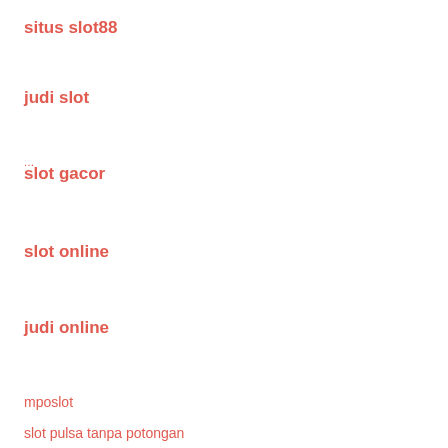situs slot88
judi slot
slot gacor
slot online
judi online
mposlot
slot pulsa tanpa potongan